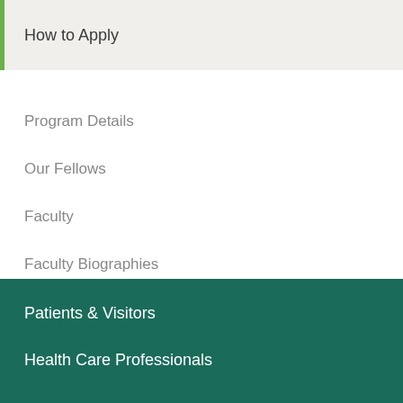How to Apply
Program Details
Our Fellows
Faculty
Faculty Biographies
Contact Us
Patients & Visitors
Health Care Professionals